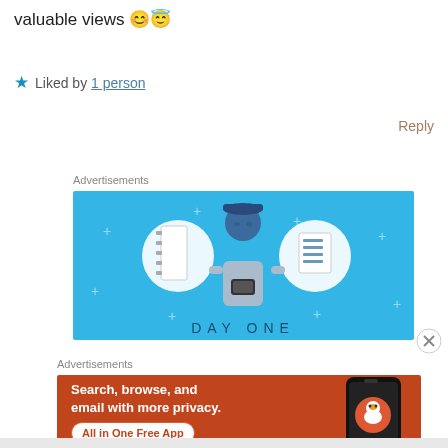valuable views 😊😇
★ Liked by 1 person
Reply
Advertisements
[Figure (illustration): Day One app advertisement on blue background with illustrated person holding phone flanked by notebook icons and text 'DAY ONE']
Advertisements
[Figure (illustration): DuckDuckGo advertisement on orange/red background with text 'Search, browse, and email with more privacy. All in One Free App' and phone mockup showing DuckDuckGo logo]